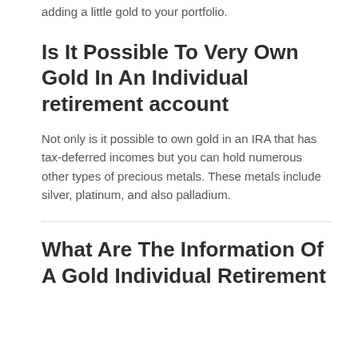adding a little gold to your portfolio.
Is It Possible To Very Own Gold In An Individual retirement account
Not only is it possible to own gold in an IRA that has tax-deferred incomes but you can hold numerous other types of precious metals. These metals include silver, platinum, and also palladium.
What Are The Information Of A Gold Individual Retirement